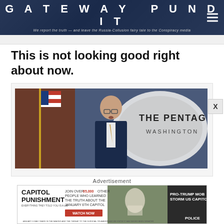GATEWAY PUNDIT
We report the truth — and leave the Russia-Collusion fairy tale to the Conspiracy media
This is not looking good right about now.
[Figure (photo): A man in a dark suit speaking at a Pentagon Washington podium, with an American flag in the background]
Advertisement
[Figure (photo): Advertisement banner for Capitol Punishment documentary — Join over 65,000 other people who learned the truth about the January 6th Capitol. Watch Now. Pro-Trump Mobs Storm US Capitol.]